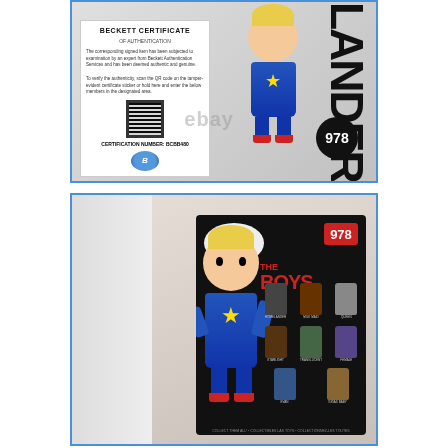[Figure (photo): Photo of a Funko Pop figure #978 from The Boys TV show (The Homelander) still in box, showing side view with Beckett Certificate of Authenticity. The certification number is BCBB480.]
[Figure (photo): Photo of the back of the Funko Pop #978 The Boys box showing the Pop Television logo, The Boys logo in red, the #978 badge, the main Homelander figure on the left, and a collection grid of other figures from the series.]